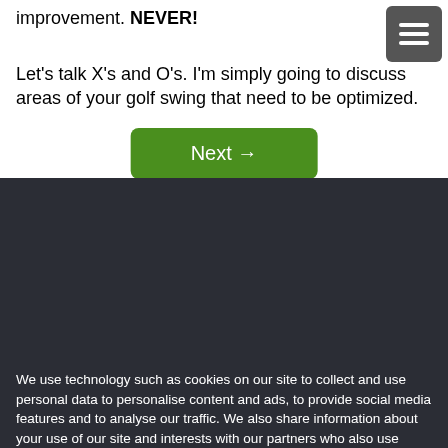improvement. NEVER!
Let's talk X's and O's. I'm simply going to discuss areas of your golf swing that need to be optimized.
[Figure (other): Green 'Next →' button]
We use technology such as cookies on our site to collect and use personal data to personalise content and ads, to provide social media features and to analyse our traffic. We also share information about your use of our site and interests with our partners who also use technologies such as cookies to collect and use personal data to personalise content and ads, to provide social media features and to analyse our traffic on our site and across the internet. You can always change your mind and revisit your choices.
[Figure (other): 'Manage Options' button (light grey) and 'I Accept' button (teal/cyan)]